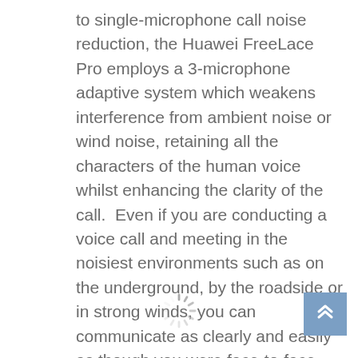to single-microphone call noise reduction, the Huawei FreeLace Pro employs a 3-microphone adaptive system which weakens interference from ambient noise or wind noise, retaining all the characters of the human voice whilst enhancing the clarity of the call.  Even if you are conducting a voice call and meeting in the noisiest environments such as on the underground, by the roadside or in strong winds, you can communicate as clearly and easily as though you were face-to-face.
[Figure (other): Loading spinner icon (circular dashed loading indicator)]
[Figure (other): Scroll-to-top button with double upward chevron arrows on a blue square background]